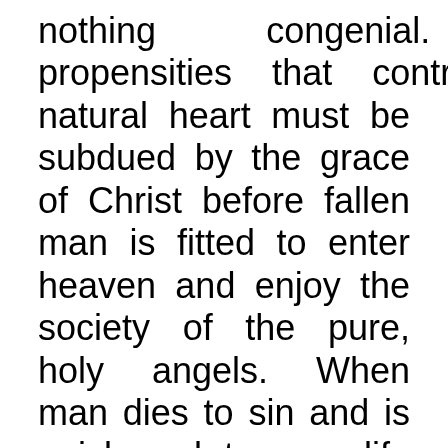nothing congenial. The propensities that control the natural heart must be subdued by the grace of Christ before fallen man is fitted to enter heaven and enjoy the society of the pure, holy angels. When man dies to sin and is quickened to new life in Christ, divine love fills his heart; his understanding is sanctified; he drinks from an inexhaustible